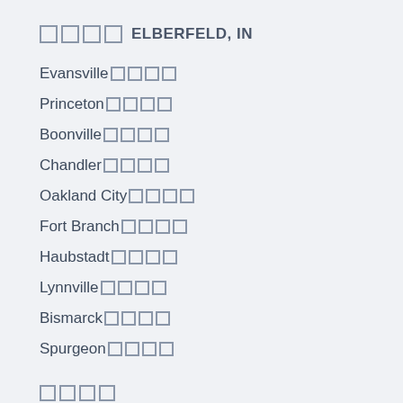□□□□ ELBERFELD, IN
Evansville □□□□
Princeton □□□□
Boonville □□□□
Chandler □□□□
Oakland City □□□□
Fort Branch □□□□
Haubstadt □□□□
Lynnville □□□□
Bismarck □□□□
Spurgeon □□□□
□□□□
Elberfeld Waterfront □□□